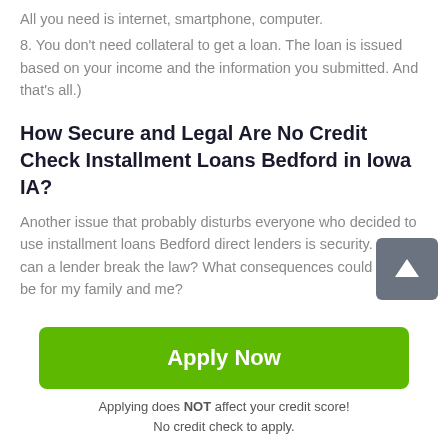All you need is internet, smartphone, computer.
8. You don't need collateral to get a loan. The loan is issued based on your income and the information you submitted. And that's all.)
How Secure and Legal Are No Credit Check Installment Loans Bedford in Iowa IA?
Another issue that probably disturbs everyone who decided to use installment loans Bedford direct lenders is security. How can a lender break the law? What consequences could there be for my family and me?
First of all, installment loans are legal in Bedford of Iowa
Apply Now
Applying does NOT affect your credit score!
No credit check to apply.